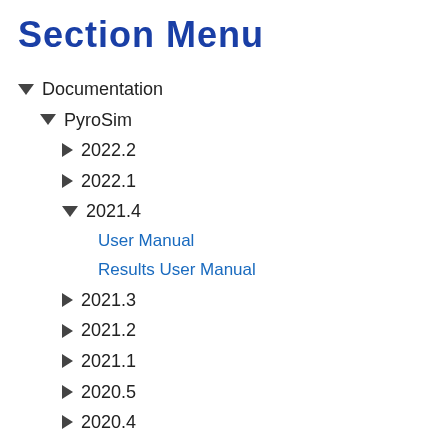has very good support for appearance information and texture mapping. In addition, many 3D modeling applications have built-in support for exporting FBX …s format has no …ther objects are …s them as …. This can cause …rsected with objects …oke will be able to …d objects. With the …ugh, this is still a …ing 3D building …is simply a listing …o appearance or
Section Menu
▼ Documentation
▼ PyroSim
► 2022.2
► 2022.1
▼ 2021.4
User Manual
Results User Manual
► 2021.3
► 2021.2
► 2021.1
► 2020.5
► 2020.4